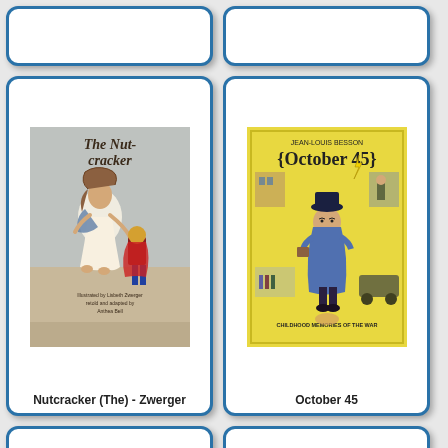[Figure (illustration): Top partial book card left - cropped at top edge]
[Figure (illustration): Top partial book card right - cropped at top edge]
[Figure (illustration): Book card: The Nutcracker - Zwerger, showing a girl in white dress dancing with a nutcracker figure]
Nutcracker (The) - Zwerger
[Figure (illustration): Book card: October 45 by Jean-Louis Besson, childhood memories of the war, showing an illustrated figure in blue cape]
October 45
[Figure (illustration): Book card: Off to the Beach! showing colorful beach scene with shovel]
[Figure (illustration): Book card: Off to the Park! illustrated by Stephen Cheetham, green park scene with swing and trees]